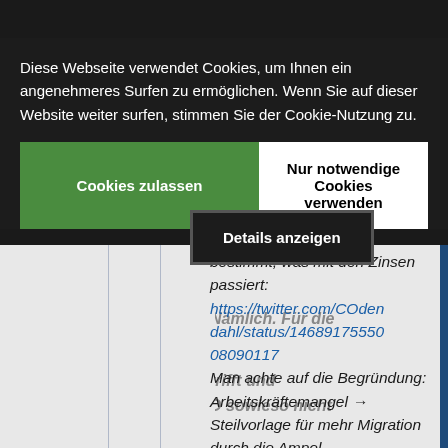[Figure (screenshot): Cookie consent dialog overlay on a German-language website. The dialog contains: a message about cookie usage, a green 'Cookies zulassen' button, a white 'Nur notwendige Cookies verwenden' button, and a dark 'Details anzeigen' button. Behind the overlay, partially visible italic text about EZB/Zinsen and a Twitter link.]
Diese Webseite verwendet Cookies, um Ihnen ein angenehmeres Surfen zu ermöglichen. Wenn Sie auf dieser Website weiter surfen, stimmen Sie der Cookie-Nutzung zu.
Cookies zulassen
Nur notwendige Cookies verwenden
Details anzeigen
bestimmt, was mit den Zinsen passiert: https://twitter.com/COdendahl/status/146891755508090117 Man achte auf die Begründung: Arbeitskräftemangel → Steilvorlage für mehr Migration durch die Ampel…